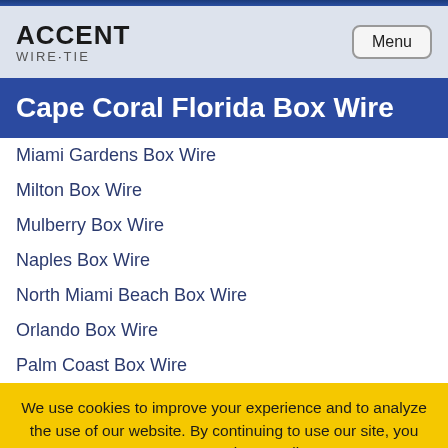ACCENT WIRE·TIE | Menu
Cape Coral Florida Box Wire
Miami Gardens Box Wire
Milton Box Wire
Mulberry Box Wire
Naples Box Wire
North Miami Beach Box Wire
Orlando Box Wire
Palm Coast Box Wire
We use cookies to improve your experience and to analyze the use of our website. By continuing to use our site, you agree to our Privacy Policy.
OK